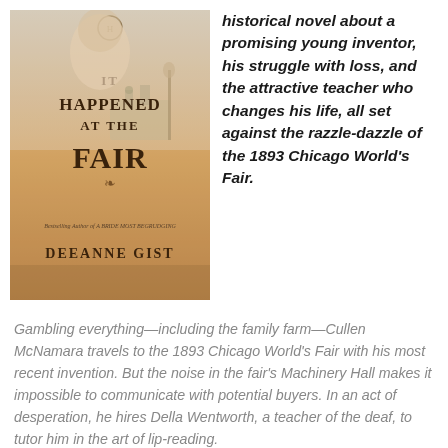[Figure (illustration): Book cover of 'It Happened at the Fair' by Deeanne Gist. Features a woman in period dress with a warm sepia-toned background showing a fairground scene. Text reads 'IT HAPPENED AT THE FAIR', 'Bestselling Author of A BRIDE MOST BEGRUDGING', 'DEEANNE GIST'. Publisher logo at top.]
historical novel about a promising young inventor, his struggle with loss, and the attractive teacher who changes his life, all set against the razzle-dazzle of the 1893 Chicago World's Fair.
Gambling everything—including the family farm—Cullen McNamara travels to the 1893 Chicago World's Fair with his most recent invention. But the noise in the fair's Machinery Hall makes it impossible to communicate with potential buyers. In an act of desperation, he hires Della Wentworth, a teacher of the deaf, to tutor him in the art of lip-reading.